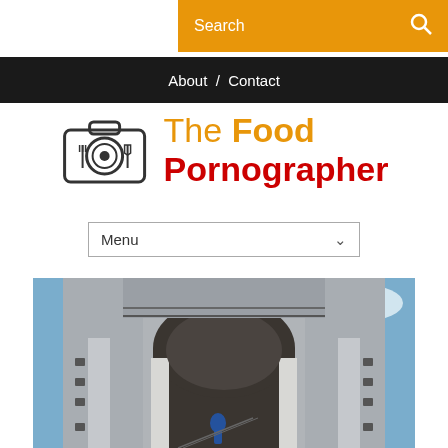[Figure (screenshot): Orange search bar with text 'Search' and magnifying glass icon]
About / Contact
[Figure (logo): The Food Pornographer logo with camera icon — 'The Food' in orange and 'Pornographer' in red]
[Figure (screenshot): Menu dropdown selector]
[Figure (photo): Photograph looking up at the arched entrance of an old stone/concrete building (church bell tower), with a person visible inside under the arch and blue sky in the background]